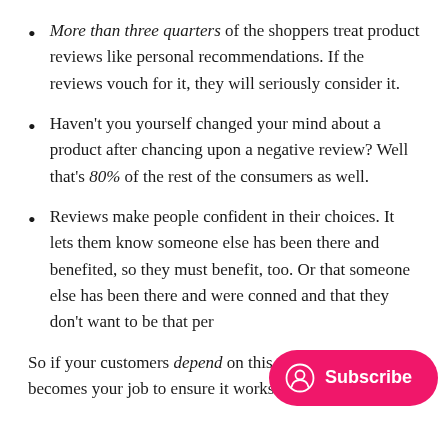More than three quarters of the shoppers treat product reviews like personal recommendations. If the reviews vouch for it, they will seriously consider it.
Haven't you yourself changed your mind about a product after chancing upon a negative review? Well that's 80% of the rest of the consumers as well.
Reviews make people confident in their choices. It lets them know someone else has been there and benefited, so they must benefit, too. Or that someone else has been there and were conned and that they don't want to be that per…
So if your customers depend on this, the… becomes your job to ensure it works to your advantage.